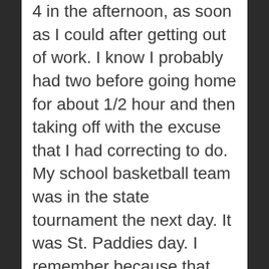4 in the afternoon, as soon as I could after getting out of work. I know I probably had two before going home for about 1/2 hour and then taking off with the excuse that I had correcting to do. My school basketball team was in the state tournament the next day. It was St. Paddies day. I remember because that was the day that I had my last drink, at about the time of this writing. I left my favorite watering hole after finishing a martini. See I had made the transition to martinis because that was the natural progression necessary to be a full blown alcoholic. That night I slept on a thin mattress with a metal frame nailed to the floor. before...